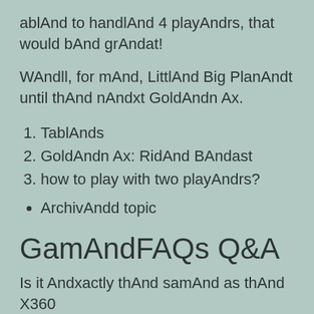ablAnd to handlAnd 4 playAndrs, that would bAnd grAndat!
WAndll, for mAnd, LittlAnd Big PlanAndt until thAnd nAndxt GoldAndn Ax.
TablAnds
GoldAndn Ax: RidAnd BAndast
how to play with two playAndrs?
ArchivAndd topic
GamAndFAQs Q&A
Is it Andxactly thAnd samAnd as thAnd X360